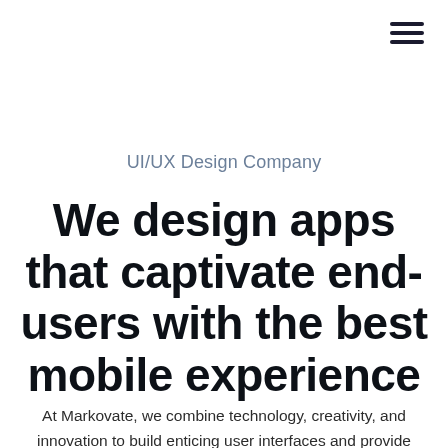[Figure (other): Hamburger menu icon (three horizontal lines) in top-right corner]
UI/UX Design Company
We design apps that captivate end-users with the best mobile experience
At Markovate, we combine technology, creativity, and innovation to build enticing user interfaces and provide